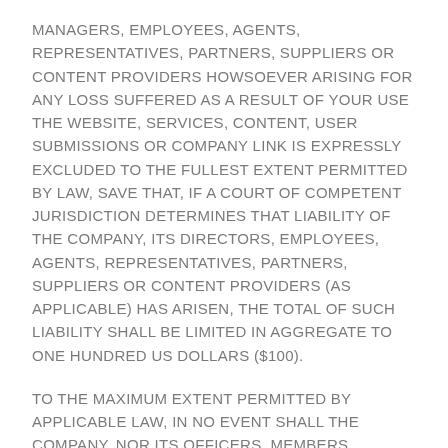MANAGERS, EMPLOYEES, AGENTS, REPRESENTATIVES, PARTNERS, SUPPLIERS OR CONTENT PROVIDERS HOWSOEVER ARISING FOR ANY LOSS SUFFERED AS A RESULT OF YOUR USE THE WEBSITE, SERVICES, CONTENT, USER SUBMISSIONS OR COMPANY LINK IS EXPRESSLY EXCLUDED TO THE FULLEST EXTENT PERMITTED BY LAW, SAVE THAT, IF A COURT OF COMPETENT JURISDICTION DETERMINES THAT LIABILITY OF THE COMPANY, ITS DIRECTORS, EMPLOYEES, AGENTS, REPRESENTATIVES, PARTNERS, SUPPLIERS OR CONTENT PROVIDERS (AS APPLICABLE) HAS ARISEN, THE TOTAL OF SUCH LIABILITY SHALL BE LIMITED IN AGGREGATE TO ONE HUNDRED US DOLLARS ($100).
TO THE MAXIMUM EXTENT PERMITTED BY APPLICABLE LAW, IN NO EVENT SHALL THE COMPANY, NOR ITS OFFICERS, MEMBERS, MANAGERS, EMPLOYEES, AGENTS, REPRESENTATIVES, PARTNERS, SUPPLIERS OR CONTENT